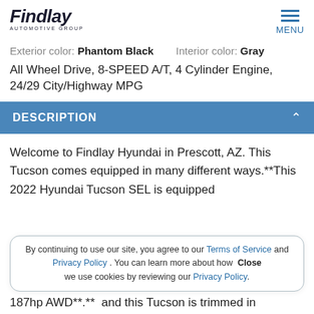[Figure (logo): Findlay Automotive Group logo — italic bold text 'Findlay' with 'AUTOMOTIVE GROUP' subtitle]
Exterior color: Phantom Black   Interior color: Gray
All Wheel Drive, 8-SPEED A/T, 4 Cylinder Engine, 24/29 City/Highway MPG
DESCRIPTION
Welcome to Findlay Hyundai in Prescott, AZ. This Tucson comes equipped in many different ways.**This 2022 Hyundai Tucson SEL is equipped
By continuing to use our site, you agree to our Terms of Service and Privacy Policy. You can learn more about how we use cookies by reviewing our Privacy Policy. Close
187hp AWD**.**  and this Tucson is trimmed in